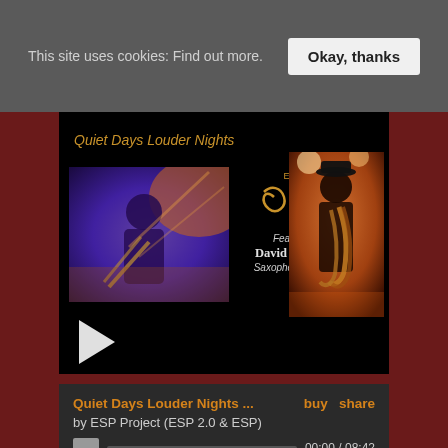This site uses cookies: Find out more.
Okay, thanks
[Figure (screenshot): Music player embed showing album artwork for 'Quiet Days Louder Nights' by ESP Project featuring David Jackson on Saxophones/Flute. Two photos of musicians, ESP logo, play button, and a dark player interface.]
Quiet Days Louder Nights ...
buy   share
by ESP Project (ESP 2.0 & ESP)
00:00 / 08:42